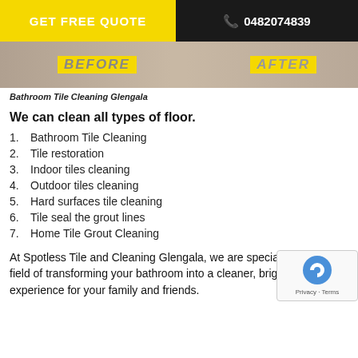GET FREE QUOTE   0482074839
[Figure (photo): Before and after bathroom tile cleaning image with yellow BEFORE and AFTER labels]
Bathroom Tile Cleaning Glengala
We can clean all types of floor.
1. Bathroom Tile Cleaning
2. Tile restoration
3. Indoor tiles cleaning
4. Outdoor tiles cleaning
5. Hard surfaces tile cleaning
6. Tile seal the grout lines
7. Home Tile Grout Cleaning
At Spotless Tile and Cleaning Glengala, we are specialists in the field of transforming your bathroom into a cleaner, brighter experience for your family and friends.